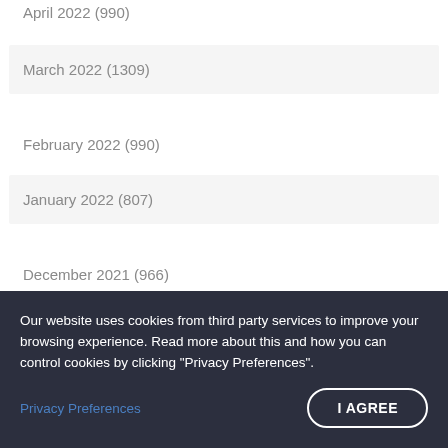April 2022 (990)
March 2022 (1309)
February 2022 (990)
January 2022 (807)
December 2021 (966)
November 2021 (792)
October 2021 (741)
September 2021 (952)
Our website uses cookies from third party services to improve your browsing experience. Read more about this and how you can control cookies by clicking "Privacy Preferences".
Privacy Preferences
I AGREE